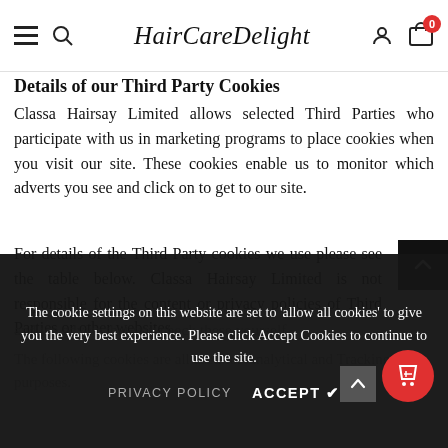HairCareDelight — navigation bar with hamburger, search, brand name, user icon, cart (0)
Details of our Third Party Cookies
Classa Hairsay Limited allows selected Third Parties who participate with us in marketing programs to place cookies when you visit our site. These cookies enable us to monitor which adverts you see and click on to get to our site.
For details of the Third Party cookies we use please see the table below. Classa Hairsay Limited is not responsible for the content or privacy policies of Third Parties or other websites, and we advise that you check these yourself.
The following cookies are all used for Analytical and Tracking purposes.
The cookie settings on this website are set to 'allow all cookies' to give you the very best experience. Please click Accept Cookies to continue to use the site.
PRIVACY POLICY   ACCEPT ✔